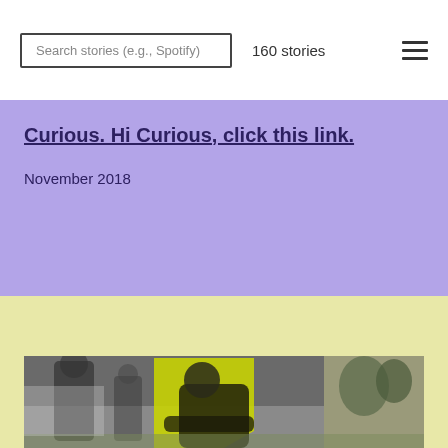Search stories (e.g., Spotify)  160 stories
Curious. Hi Curious, click this link.
November 2018
[Figure (photo): Black and white vintage photo of football players on a field, with a yellow/chartreuse graphic overlay behind the foreground player who is crouched in a ready stance. Trees and other players visible in background.]